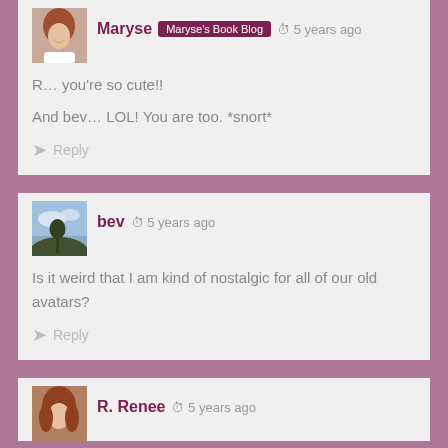Maryse  Maryse's Book Blog  5 years ago
R… you're so cute!!

And bev… LOL! You are too. *snort*
Reply
bev  5 years ago
Is it weird that I am kind of nostalgic for all of our old avatars?
Reply
R. Renee  5 years ago